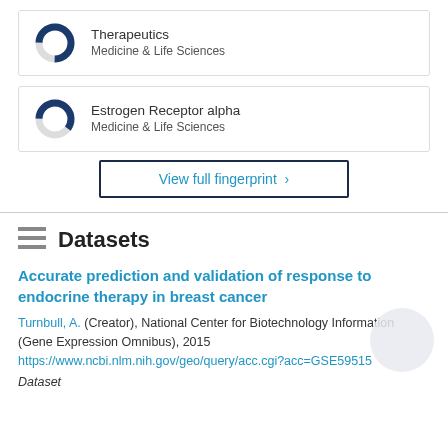[Figure (donut-chart): Donut chart for Therapeutics, Medicine & Life Sciences]
[Figure (donut-chart): Donut chart for Estrogen Receptor alpha, Medicine & Life Sciences]
View full fingerprint >
Datasets
Accurate prediction and validation of response to endocrine therapy in breast cancer
Turnbull, A. (Creator), National Center for Biotechnology Information (Gene Expression Omnibus), 2015
https://www.ncbi.nlm.nih.gov/geo/query/acc.cgi?acc=GSE59515
Dataset